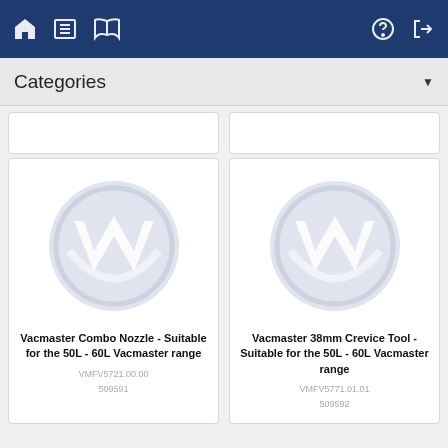Navigation bar with home, list, book icons on left; help and login icons on right
Categories
[Figure (screenshot): Partial product card row cut off at top]
[Figure (logo): Vacmaster logo watermark - circular badge with W shape]
Vacmaster Combo Nozzle - Suitable for the 50L - 60L Vacmaster range
VMFV5721.00.00
509591
[Figure (logo): Vacmaster logo watermark - circular badge with W shape]
Vacmaster 38mm Crevice Tool - Suitable for the 50L - 60L Vacmaster range
VMFV5771.01.01
509592